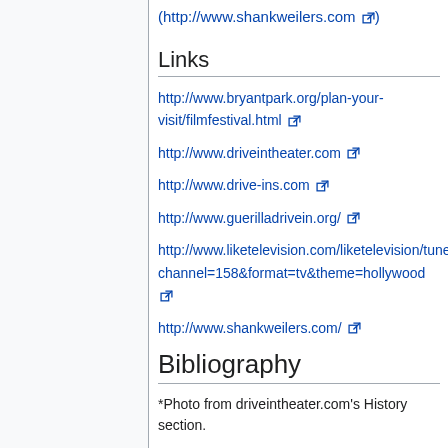(http://www.shankweilers.com)
Links
http://www.bryantpark.org/plan-your-visit/filmfestival.html
http://www.driveintheater.com
http://www.drive-ins.com
http://www.guerilladrivein.org/
http://www.liketelevision.com/liketelevision/tuner.php?channel=158&format=tv&theme=hollywood
http://www.shankweilers.com/
Bibliography
*Photo from driveintheater.com's History section.
Bell, Shannon. "FROM TICKET BOOTH TO SCREEN TOWER AN ARCHITECTURAL STUDY OF DRIVE-IN THEATERS IN THE BALTIMORE-WASHINGTON, D.C.